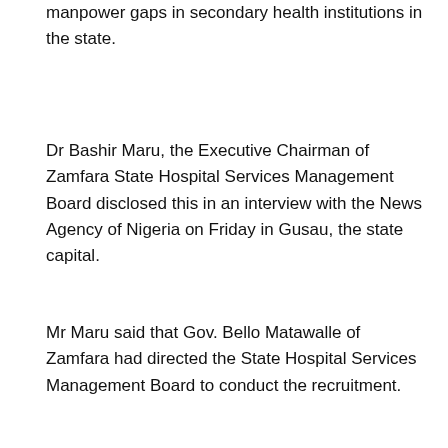manpower gaps in secondary health institutions in the state.
Dr Bashir Maru, the Executive Chairman of Zamfara State Hospital Services Management Board disclosed this in an interview with the News Agency of Nigeria on Friday in Gusau, the state capital.
Mr Maru said that Gov. Bello Matawalle of Zamfara had directed the State Hospital Services Management Board to conduct the recruitment.
[Figure (infographic): Row of social media sharing icons: WhatsApp (green), Facebook (blue), Twitter (blue bird), LinkedIn (blue), Telegram (blue), Pinterest (red), Reddit (orange-red), Email (dark red envelope)]
[Figure (photo): Advertisement banner for Cosgrove Real Estate showing building image with text SMART HOMES. PRIME INVESTMENTS.]